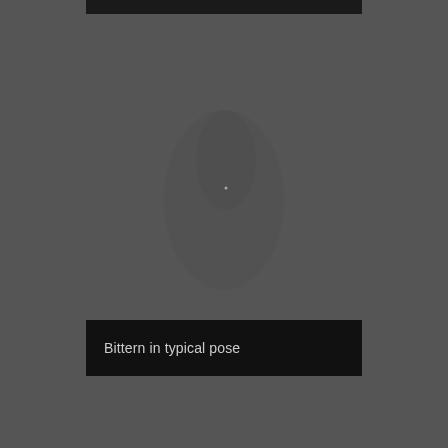[Figure (photo): A dark photograph of a Bittern bird in typical pose, shown against a dark background. A small light-colored dot is visible near the center of the image. The top of the image shows a dark black bar across the upper portion.]
Bittern in typical pose